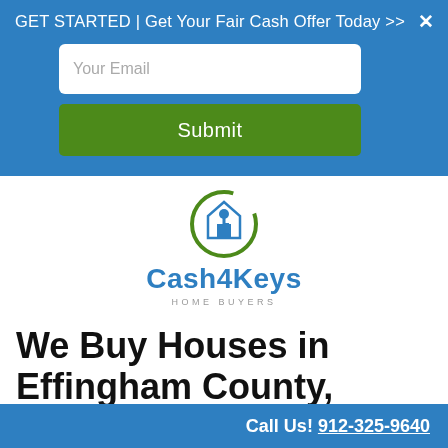GET STARTED | Get Your Fair Cash Offer Today >>
[Figure (screenshot): Email input field with placeholder text 'Your Email']
[Figure (screenshot): Green Submit button]
[Figure (logo): Cash4Keys Home Buyers logo with circular icon and blue/green text]
We Buy Houses in Effingham County, Georgia Fast
Call Us! 912-325-9640